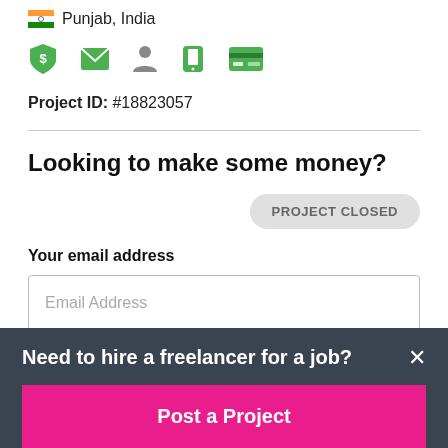Punjab, India
[Figure (infographic): Row of 5 icons: green shield with dollar sign, green envelope, grey person silhouette, green phone, green credit card]
Project ID: #18823057
Looking to make some money?
PROJECT CLOSED
Your email address
Email Address
Need to hire a freelancer for a job?
Post a Project